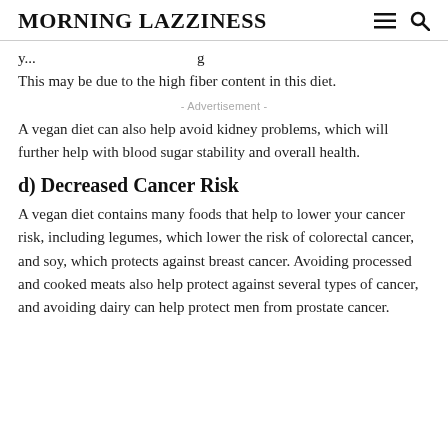MORNING LAZZINESS
This may be due to the high fiber content in this diet.
- Advertisement -
A vegan diet can also help avoid kidney problems, which will further help with blood sugar stability and overall health.
d) Decreased Cancer Risk
A vegan diet contains many foods that help to lower your cancer risk, including legumes, which lower the risk of colorectal cancer, and soy, which protects against breast cancer. Avoiding processed and cooked meats also help protect against several types of cancer, and avoiding dairy can help protect men from prostate cancer.